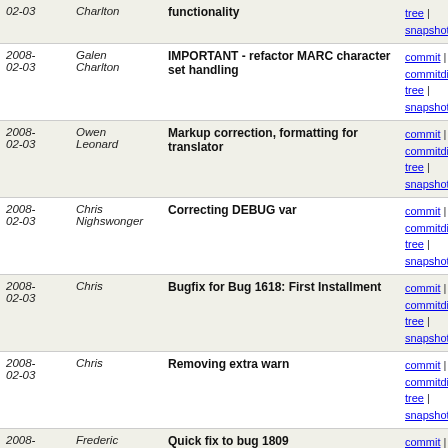| Date | Author | Message | Links |
| --- | --- | --- | --- |
| 2008-02-03 | Charlton | functionality | commit | commitdiff | tree | snapshot |
| 2008-02-03 | Galen Charlton | IMPORTANT - refactor MARC character set handling | commit | commitdiff | tree | snapshot |
| 2008-02-03 | Owen Leonard | Markup correction, formatting for translator | commit | commitdiff | tree | snapshot |
| 2008-02-03 | Chris Nighswonger | Correcting DEBUG var | commit | commitdiff | tree | snapshot |
| 2008-02-03 | Chris | Bugfix for Bug 1618: First Installment | commit | commitdiff | tree | snapshot |
| 2008-02-03 | Chris | Removing extra warn | commit | commitdiff | tree | snapshot |
| 2008-02-03 | Frederic DEMIANS | Quick fix to bug 1809 | commit | commitdiff | tree | snapshot |
| 2008-02-03 | Frederic DEMIANS | Fix a bug in authorised values admin | commit | commitdiff | tree | snapshot |
| 2008-02-03 | Owen Leonard | Previous change hid global search on results page too... | commit | commitdiff | tree | snapshot |
| 2008-02-03 | Owen Leonard | Removing some unused include files; Correcting nomencla... | commit | commitdiff | tree | snapshot |
| 2008-02-03 | Owen Leonard | Minor style tweak to lists menu; Trying to show public... | commit | commitdiff | tree | snapshot |